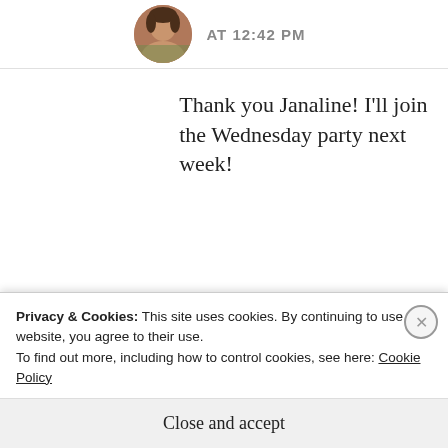[Figure (photo): Circular avatar photo of a woman, partially visible at top]
AT 12:42 PM
Thank you Janaline! I’ll join the Wednesday party next week!
★ Like
REPLY
Advertisements
Privacy & Cookies: This site uses cookies. By continuing to use this website, you agree to their use.
To find out more, including how to control cookies, see here: Cookie Policy
Close and accept